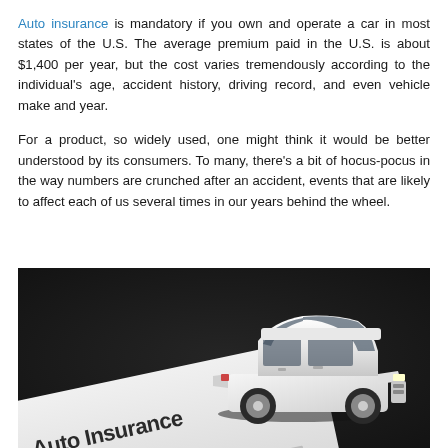Auto insurance is mandatory if you own and operate a car in most states of the U.S. The average premium paid in the U.S. is about $1,400 per year, but the cost varies tremendously according to the individual's age, accident history, driving record, and even vehicle make and year.
For a product, so widely used, one might think it would be better understood by its consumers. To many, there's a bit of hocus-pocus in the way numbers are crunched after an accident, events that are likely to affect each of us several times in our years behind the wheel.
[Figure (photo): A toy white sedan car model placed on top of an Auto Insurance policy document, on a dark background. The document reads 'Auto Insurance' and 'nal insurance policy'.]